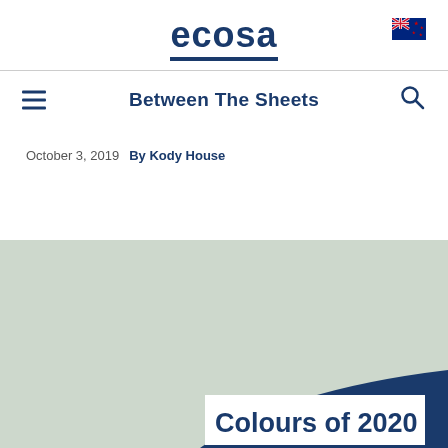ecosa
Between The Sheets
October 3, 2019   By Kody House
[Figure (illustration): Hero image with sage green background and dark navy blue wave shape at the bottom, featuring white box with bold dark blue text 'Colours of 2020']